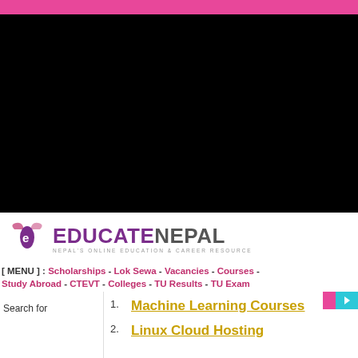[Figure (other): Black image/video area at top of page]
[Figure (logo): Educate Nepal logo with stylized 'e' icon and text 'EDUCATENEPAL - NEPAL'S ONLINE EDUCATION & CAREER RESOURCE']
[ MENU ] : Scholarships - Lok Sewa - Vacancies - Courses - Study Abroad - CTEVT - Colleges - TU Results - TU Exam
Search for
1. Machine Learning Courses
2. Linux Cloud Hosting